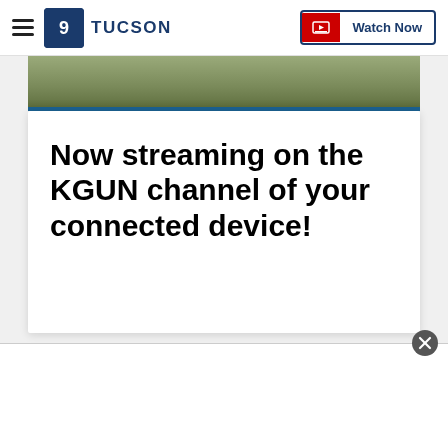KGUN 9 TUCSON — Watch Now
[Figure (photo): Top portion of a video thumbnail or image strip showing outdoor scene with muted olive/green tones and a blue border at the bottom]
Now streaming on the KGUN channel of your connected device!
[Figure (other): Advertisement bar at the bottom of the page with a close (X) button]